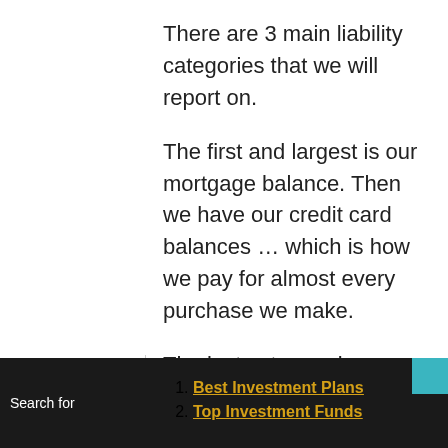There are 3 main liability categories that we will report on.
The first and largest is our mortgage balance. Then we have our credit card balances … which is how we pay for almost every purchase we make.
The last category is our car loan(s). We plan to have one of our vehicles paid off completely by this summer. The other vehicle is a 0% interest rate
Search for
1. Best Investment Plans
2. Top Investment Funds